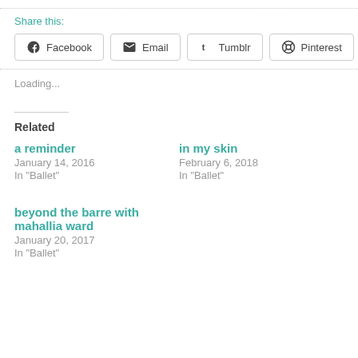Share this:
Facebook  Email  Tumblr  Pinterest
Loading...
Related
a reminder
January 14, 2016
In "Ballet"
in my skin
February 6, 2018
In "Ballet"
beyond the barre with mahallia ward
January 20, 2017
In "Ballet"